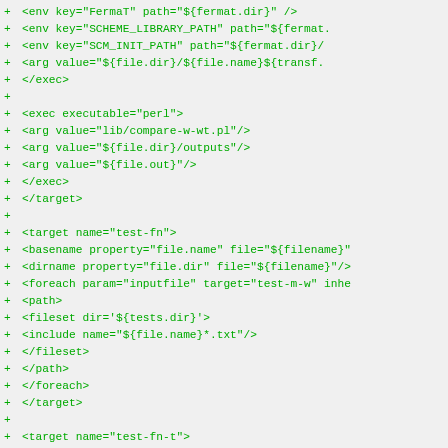Code diff showing XML build file additions including exec, target, basename, dirname, foreach, path, fileset, and include elements for test-fn and test-fn-t targets